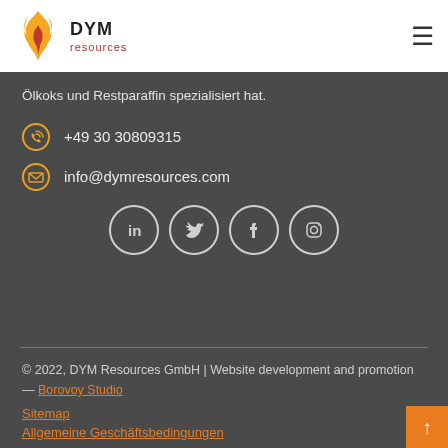[Figure (logo): DYM Resources flame logo with orange and yellow flame icon, text DYM in bold dark letters and 'resources' in red below]
Ölkoks und Restparaffin spezialisiert hat.
+49 30 30809315
info@dymresources.com
[Figure (illustration): Four social media icons in circular outlines: LinkedIn, Twitter, Facebook, Instagram]
© 2022, DYM Resources GmbH | Website development and promotion — Borovoy Studio
Sitemap
Allgemeine Geschäftsbedingungen